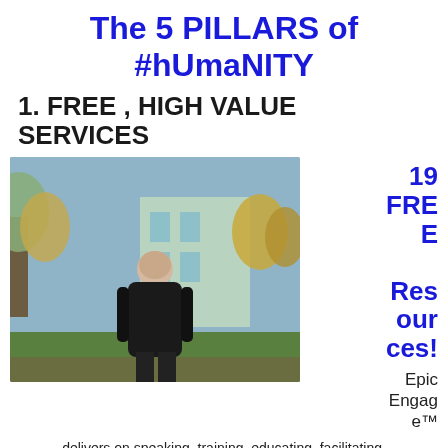The 5 PILLARS of #hUmaNITY
1. FREE , HIGH VALUE SERVICES
[Figure (photo): Man in black jacket standing outdoors in front of a building with autumn trees]
19 FREE Resources!
Epic Engage™
delivers on speaking, training, educating, facilitating, coaching and consulting… and a whole lot more. Part of what we do is provide content rich sources of both information, and engagement through